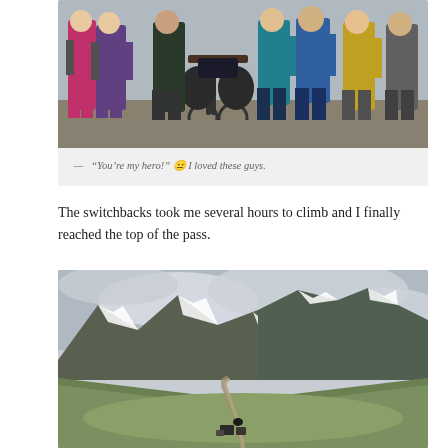[Figure (photo): Group of people standing with a loaded bicycle on a rocky mountain road. They are wearing colorful outdoor clothing.]
— "You're my hero!" 🙂 I loved these guys.
The switchbacks took me several hours to climb and I finally reached the top of the pass.
[Figure (photo): Aerial or elevated view of a mountain pass valley with snow-capped peaks, green slopes, and a winding road leading through the valley.]